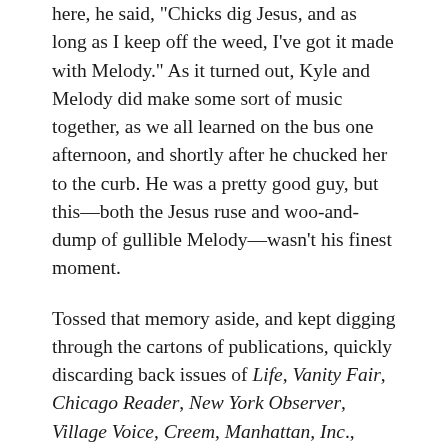here, he said, "Chicks dig Jesus, and as long as I keep off the weed, I've got it made with Melody." As it turned out, Kyle and Melody did make some sort of music together, as we all learned on the bus one afternoon, and shortly after he chucked her to the curb. He was a pretty good guy, but this—both the Jesus ruse and woo-and-dump of gullible Melody—wasn't his finest moment.
Tossed that memory aside, and kept digging through the cartons of publications, quickly discarding back issues of Life, Vanity Fair, Chicago Reader, New York Observer, Village Voice, Creem, Manhattan, Inc., Straight Creek Journal, The Real Paper, Ramparts, The New Republic and on and on, until I noticed the February, 1970 edition of Circus magazine. As a young teenager I'd scrape together two quarters on occasion—usually while waiting for the new Rolling Stone to arrive via U.S. mail—for a copy of Circus, and while it was kind of